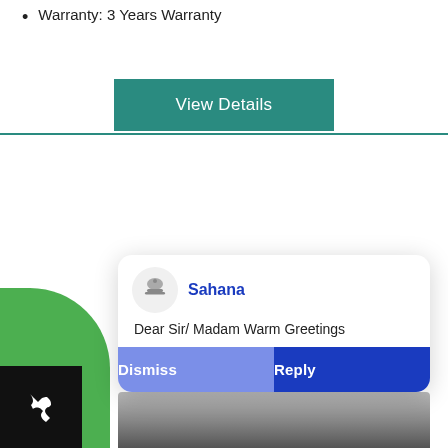Warranty: 3 Years Warranty
View Details
[Figure (screenshot): Notification popup from 'Sahana' with bell icon, message 'Dear Sir/ Madam Warm Greetings', and two buttons: 'Dismiss' (purple) and 'Reply' (blue). A phone call button is visible in the bottom left corner.]